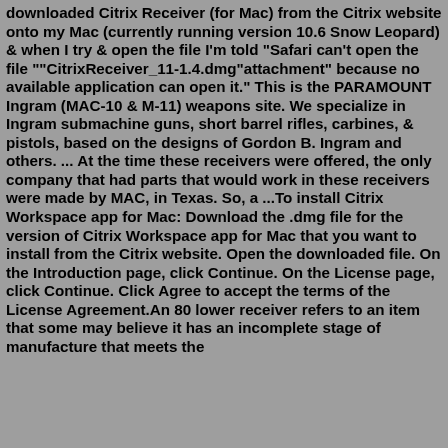downloaded Citrix Receiver (for Mac) from the Citrix website onto my Mac (currently running version 10.6 Snow Leopard) & when I try & open the file I'm told "Safari can't open the file ""CitrixReceiver_11-1.4.dmg"attachment" because no available application can open it." This is the PARAMOUNT Ingram (MAC-10 & M-11) weapons site. We specialize in Ingram submachine guns, short barrel rifles, carbines, & pistols, based on the designs of Gordon B. Ingram and others. ... At the time these receivers were offered, the only company that had parts that would work in these receivers were made by MAC, in Texas. So, a ...To install Citrix Workspace app for Mac: Download the .dmg file for the version of Citrix Workspace app for Mac that you want to install from the Citrix website. Open the downloaded file. On the Introduction page, click Continue. On the License page, click Continue. Click Agree to accept the terms of the License Agreement.An 80 lower receiver refers to an item that some may believe it has an incomplete stage of manufacture that meets the